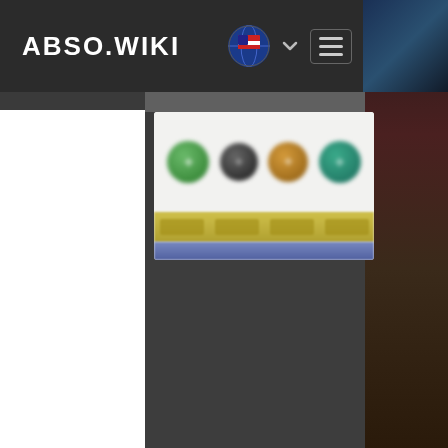ABSO.WIKI
[Figure (screenshot): Website screenshot of ABSO.WIKI showing a navigation bar with logo, US flag language selector with chevron, hamburger menu, and a blurred banner image containing four colored circular icons (green, black/dark, gold/orange, teal/green) with yellow and blue strips below, on a dark background]